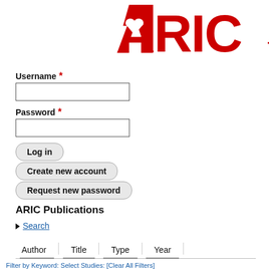[Figure (logo): ARIC logo in bold red letters with a heart cutout in the A, followed by a red horizontal line accent]
Username *
Password *
Log in
Create new account
Request new password
ARIC Publications
▶ Search
Author | Title | Type | Year
Filter by Keyword: Select Studies: [Clear All Filters]